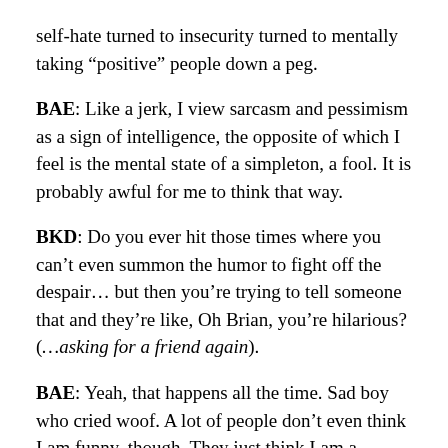self-hate turned to insecurity turned to mentally taking “positive” people down a peg.
BAE: Like a jerk, I view sarcasm and pessimism as a sign of intelligence, the opposite of which I feel is the mental state of a simpleton, a fool. It is probably awful for me to think that way.
BKD: Do you ever hit those times where you can’t even summon the humor to fight off the despair… but then you’re trying to tell someone that and they’re like, Oh Brian, you’re hilarious? (…asking for a friend again).
BAE: Yeah, that happens all the time. Sad boy who cried woof. A lot of people don’t even think I am funny, though. They just think I am a